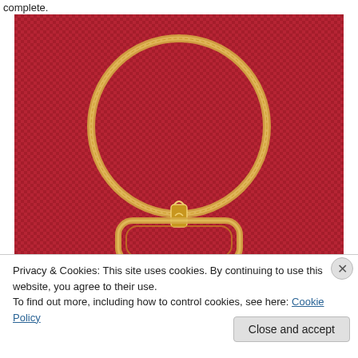complete.
[Figure (photo): Close-up photo of gold jewelry — a snake chain necklace formed into a circle at top, connected via a bail/clasp to a square-cornered coin bezel frame at bottom, all resting on a red woven fabric background.]
Privacy & Cookies: This site uses cookies. By continuing to use this website, you agree to their use.
To find out more, including how to control cookies, see here: Cookie Policy
Close and accept